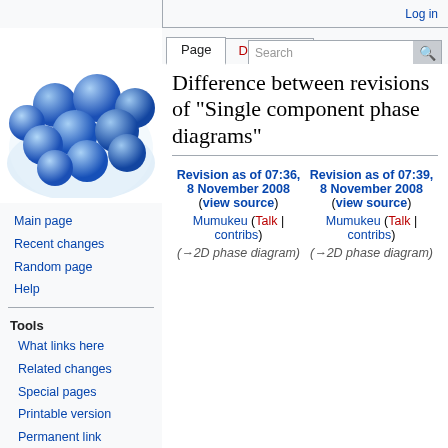Log in
[Figure (illustration): Blue spheres/balls cluster in a bowl-like container, Wikipedia-style logo illustration]
Difference between revisions of "Single component phase diagrams"
Main page
Recent changes
Random page
Help
Tools
What links here
Related changes
Special pages
Printable version
Permanent link
Page information
| Revision as of 07:36, 8 November 2008 (view source) | Revision as of 07:39, 8 November 2008 (view source) |
| --- | --- |
| Mumukeu (Talk | contribs) | Mumukeu (Talk | contribs) |
| (→2D phase diagram) | (→2D phase diagram) |